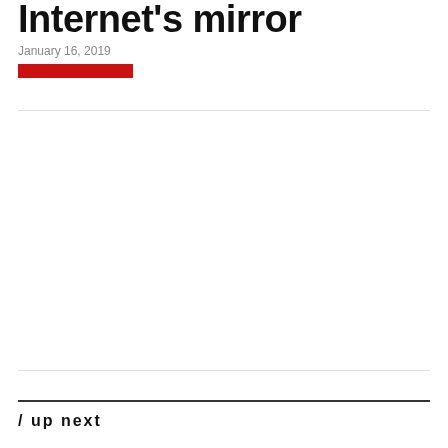Internet's mirror
January 16, 2019
/ up next